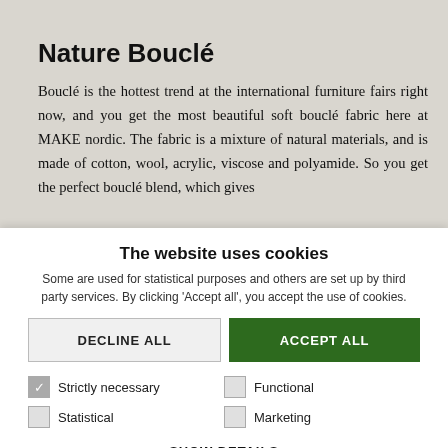Nature Bouclé
Bouclé is the hottest trend at the international furniture fairs right now, and you get the most beautiful soft bouclé fabric here at MAKE nordic. The fabric is a mixture of natural materials, and is made of cotton, wool, acrylic, viscose and polyamide. So you get the perfect bouclé blend, which gives
The website uses cookies
Some are used for statistical purposes and others are set up by third party services. By clicking 'Accept all', you accept the use of cookies.
DECLINE ALL
ACCEPT ALL
Strictly necessary
Functional
Statistical
Marketing
SHOW DETAILS